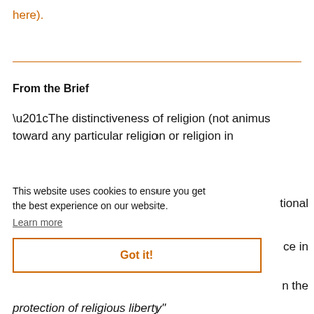here).
From the Brief
“The distinctiveness of religion (not animus toward any particular religion or religion in
This website uses cookies to ensure you get the best experience on our website.
Learn more
Got it!
tional
ce in
n the
protection of religious liberty”